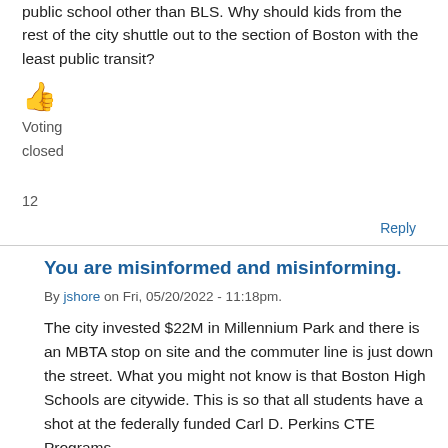public school other than BLS. Why should kids from the rest of the city shuttle out to the section of Boston with the least public transit?
[Figure (illustration): Thumbs up emoji icon in orange/yellow color]
Voting
closed
12
Reply
You are misinformed and misinforming.
By jshore on Fri, 05/20/2022 - 11:18pm.
The city invested $22M in Millennium Park and there is an MBTA stop on site and the commuter line is just down the street. What you might not know is that Boston High Schools are citywide. This is so that all students have a shot at the federally funded Carl D. Perkins CTE Programs.